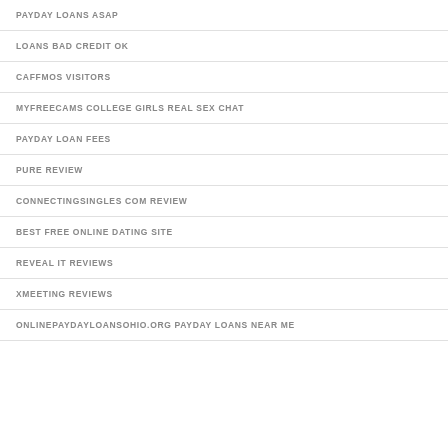PAYDAY LOANS ASAP
LOANS BAD CREDIT OK
CAFFMOS VISITORS
MYFREECAMS COLLEGE GIRLS REAL SEX CHAT
PAYDAY LOAN FEES
PURE REVIEW
CONNECTINGSINGLES COM REVIEW
BEST FREE ONLINE DATING SITE
REVEAL IT REVIEWS
XMEETING REVIEWS
ONLINEPAYDAYLOANSOHIO.ORG PAYDAY LOANS NEAR ME